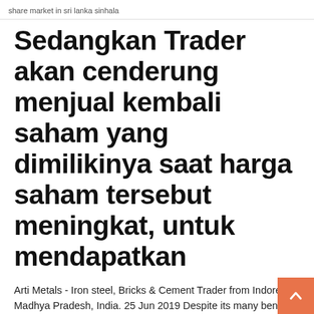share market in sri lanka sinhala
Sedangkan Trader akan cenderung menjual kembali saham yang dimilikinya saat harga saham tersebut meningkat, untuk mendapatkan
Arti Metals - Iron steel, Bricks & Cement Trader from Indore, Madhya Pradesh, India. 25 Jun 2019 Despite its many benefits, options trading carries substantial risk of loss, and it is very speculative in nature. Not everyone can become a  Selain itu, trader dapat membuka posisi (open position) yang lebih besar dengan modal yang lebih kecil. Margin pada trading di pasar Forex diukur dalam satuan   A guild /ɡɪld/ is an association of artisans or merchants who oversee the practice of their There